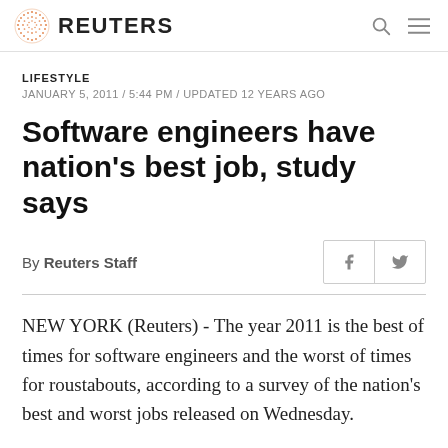REUTERS
LIFESTYLE
JANUARY 5, 2011 / 5:44 PM / UPDATED 12 YEARS AGO
Software engineers have nation's best job, study says
By Reuters Staff
NEW YORK (Reuters) - The year 2011 is the best of times for software engineers and the worst of times for roustabouts, according to a survey of the nation’s best and worst jobs released on Wednesday.